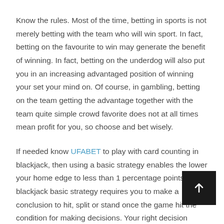Know the rules. Most of the time, betting in sports is not merely betting with the team who will win sport. In fact, betting on the favourite to win may generate the benefit of winning. In fact, betting on the underdog will also put you in an increasing advantaged position of winning your set your mind on. Of course, in gambling, betting on the team getting the advantage together with the team quite simple crowd favorite does not at all times mean profit for you, so choose and bet wisely.
If needed know UFABET to play with card counting in blackjack, then using a basic strategy enables the lower your home edge to less than 1 percentage points. The blackjack basic strategy requires you to make a conclusion to hit, split or stand once the game hit the condition for making decisions. Your right decision based on top of the set rules of blackjack basic strategy will assist in lower the house edge delivers you a plus against the card dealer.